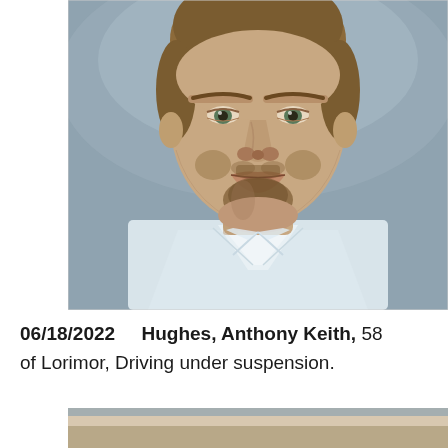[Figure (photo): Mugshot of a middle-aged white male with short brown hair and a goatee, wearing a white V-neck shirt, against a muted blue-gray background. Photo is cropped from shoulders up.]
06/18/2022    Hughes, Anthony Keith, 58 of Lorimor, Driving under suspension.
[Figure (photo): Partial mugshot photo visible at the bottom of the page, showing only the top portion (shoulders/neck area) of a person against a light background.]